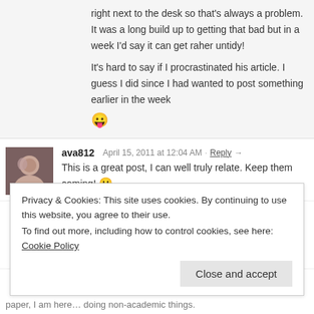right next to the desk so that's always a problem. It was a long build up to getting that bad but in a week I'd say it can get raher untidy!
It's hard to say if I procrastinated his article. I guess I did since I had wanted to post something earlier in the week 😛
ava812   April 15, 2011 at 12:04 AM · Reply →
This is a great post, I can well truly relate. Keep them coming! 🙂
Jean Brown   April 15, 2011 at 11:37 AM · Reply →
Thank you! 🙂
Privacy & Cookies: This site uses cookies. By continuing to use this website, you agree to their use.
To find out more, including how to control cookies, see here: Cookie Policy
Close and accept
paper, I am here… doing non-academic things.